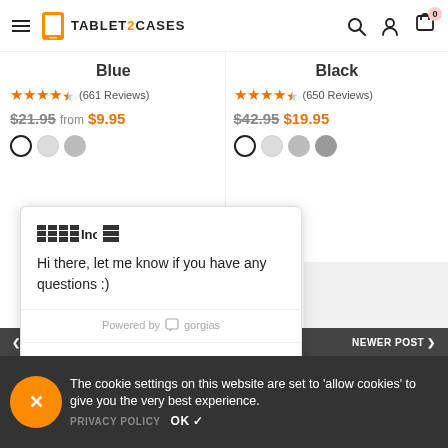TABLET2CASES — navigation header with hamburger menu, search, user, and cart icons
Blue — ★★★★½ (661 Reviews) — $21.95 from $9.95
Black — ★★★★½ (650 Reviews) — $42.95  $19.95
[Figure (screenshot): Chat popup from Gorgias: 'Hi there, let me know if you have any questions :)' with 'Click to reply' input and 'Powered by gorgias' footer]
< OLDER POST   NEWER POST >
The cookie settings on this website are set to 'allow cookies' to give you the very best experience.
PRIVACY POLICY   OK ✓